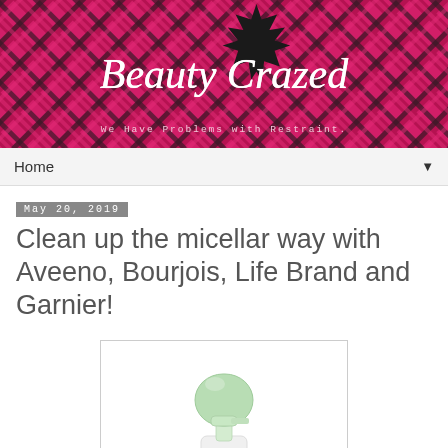[Figure (illustration): Beauty Crazed blog banner with pink and black plaid/tartan background, decorative script text 'Beauty Crazed', a black maple leaf silhouette, and subtitle 'We Have Problems with Restraint.']
Home ▼
May 20, 2019
Clean up the micellar way with Aveeno, Bourjois, Life Brand and Garnier!
[Figure (photo): A white pump/dispenser bottle with a light green cap and pump mechanism, shown on a white background inside a light gray framed box.]